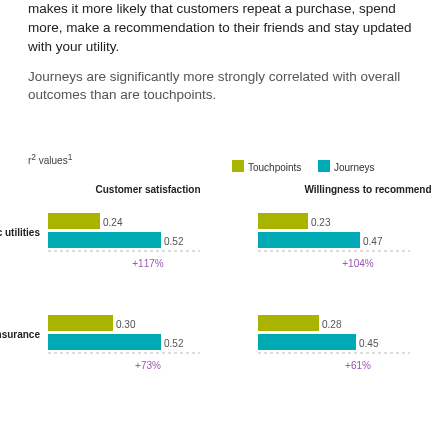makes it more likely that customers repeat a purchase, spend more, make a recommendation to their friends and stay updated with your utility.
Journeys are significantly more strongly correlated with overall outcomes than are touchpoints.
r² values¹
[Figure (grouped-bar-chart): Customer satisfaction / Willingness to recommend]